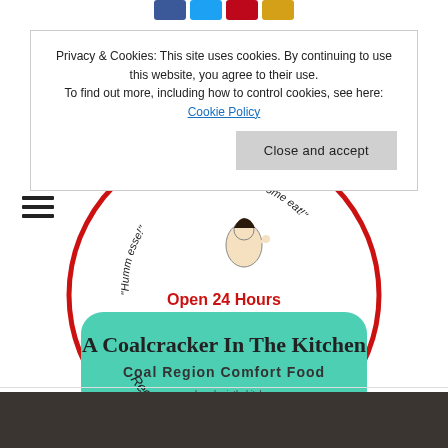[Figure (other): Social media share buttons: Facebook (blue), Twitter (light blue), Pinterest (red), YouTube/email (yellow-orange)]
Privacy & Cookies: This site uses cookies. By continuing to use this website, you agree to their use.
To find out more, including how to control cookies, see here: Cookie Policy
Close and accept
[Figure (logo): A Coalcracker In The Kitchen logo — circular red-bordered logo with a vintage woman illustration, text 'Humm esse!' and 'Come eat!', 'Open 24 Hours' in red, teal rounded rectangle reading 'A Coalcracker In The Kitchen / Coal Region Comfort Food / www.acoalcrackerinthekitchen.com', and arc text 'Recipes & Nostalgia' at bottom. Copyright © L.A. Fogg.]
[Figure (photo): Partial dark photo strip at the bottom of the page, showing what appears to be a dark cooking pan or skillet.]